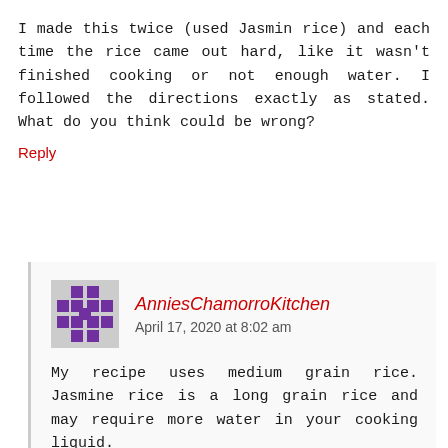I made this twice (used Jasmin rice) and each time the rice came out hard, like it wasn't finished cooking or not enough water. I followed the directions exactly as stated. What do you think could be wrong?
Reply
AnniesChamorroKitchen
April 17, 2020 at 8:02 am
My recipe uses medium grain rice. Jasmine rice is a long grain rice and may require more water in your cooking liquid.
Reply